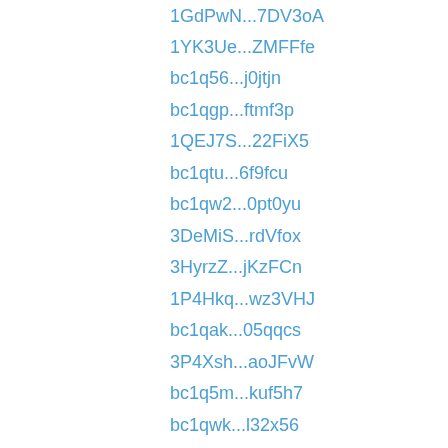1GdPwN...7DV3oA
1YK3Ue...ZMFFfe
bc1q56...j0jtjn
bc1qgp...ftmf3p
1QEJ7S...22FiX5
bc1qtu...6f9fcu
bc1qw2...0pt0yu
3DeMiS...rdVfox
3HyrzZ...jKzFCn
1P4Hkq...wz3VHJ
bc1qak...05qqcs
3P4Xsh...aoJFvW
bc1q5m...kuf5h7
bc1qwk...l32x56
3Qej4D...ZoaM5w
1NrVeL...KvfM2z
bc1q4t...qmq57w
18rzZ9...UDiUxQ
bc1qyf...lynchm
3J9jYq...GvTuYd
bc1q3x...nqfk7d
bc1qdz...5epkzu